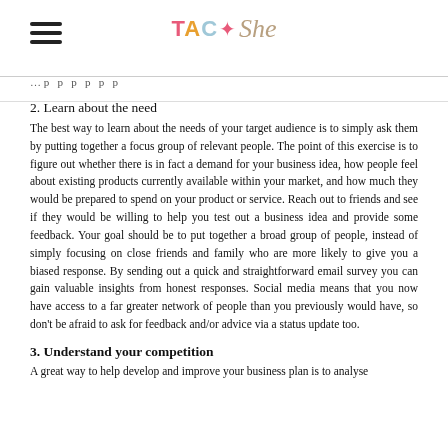TAC She
… p p p p
2. Learn about the need
The best way to learn about the needs of your target audience is to simply ask them by putting together a focus group of relevant people. The point of this exercise is to figure out whether there is in fact a demand for your business idea, how people feel about existing products currently available within your market, and how much they would be prepared to spend on your product or service. Reach out to friends and see if they would be willing to help you test out a business idea and provide some feedback. Your goal should be to put together a broad group of people, instead of simply focusing on close friends and family who are more likely to give you a biased response. By sending out a quick and straightforward email survey you can gain valuable insights from honest responses. Social media means that you now have access to a far greater network of people than you previously would have, so don't be afraid to ask for feedback and/or advice via a status update too.
3. Understand your competition
A great way to help develop and improve your business plan is to analyse